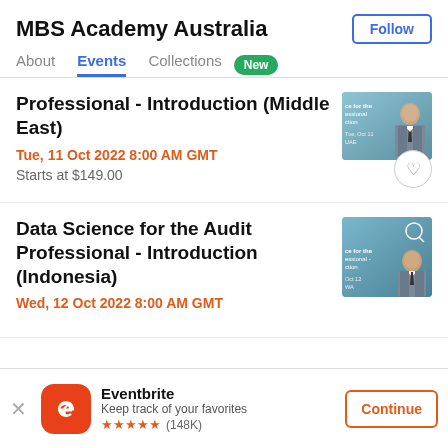MBS Academy Australia
Follow
About  Events  Collections  New
Professional - Introduction (Middle East)
Tue, 11 Oct 2022 8:00 AM GMT
Starts at $149.00
[Figure (photo): Thumbnail image of a man in a suit with arms crossed, for Data Science for the Audit Professional Introduction Middle East event]
Data Science for the Audit Professional - Introduction (Indonesia)
[Figure (photo): Thumbnail image of a man in a suit with arms crossed, for Data Science for the Audit Professional Introduction Indonesia event]
Eventbrite
Keep track of your favorites
★★★★★ (148K)
Continue